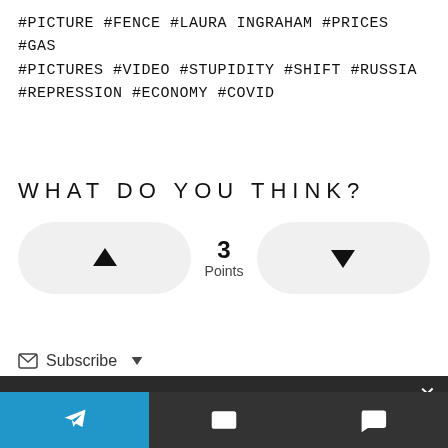#PICTURE #FENCE #LAURA INGRAHAM #PRICES #GAS #PICTURES #VIDEO #STUPIDITY #SHIFT #RUSSIA #REPRESSION #ECONOMY #COVID
WHAT DO YOU THINK?
[Figure (infographic): Vote widget with up arrow button, '3 Points' center, and down arrow button]
Subscribe
We use cookies to ensure that we give you the best experience on our website. If you continue to use this site we will assume that you are happy with it.
[Figure (infographic): Bottom navigation bar with Telegram icon (blue), email icon (dark), and comment icon (dark)]